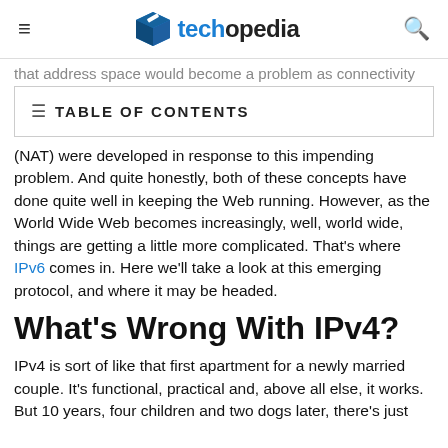techopedia
that address space would become a problem as connectivity
TABLE OF CONTENTS
(NAT) were developed in response to this impending problem. And quite honestly, both of these concepts have done quite well in keeping the Web running. However, as the World Wide Web becomes increasingly, well, world wide, things are getting a little more complicated. That's where IPv6 comes in. Here we'll take a look at this emerging protocol, and where it may be headed.
What's Wrong With IPv4?
IPv4 is sort of like that first apartment for a newly married couple. It's functional, practical and, above all else, it works. But 10 years, four children and two dogs later, there's just